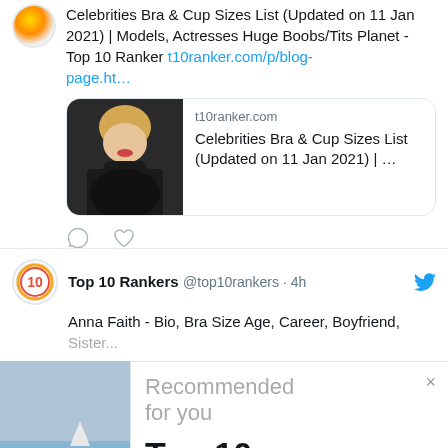Celebrities Bra & Cup Sizes List (Updated on 11 Jan 2021) | Models, Actresses Huge Boobs/Tits Planet - Top 10 Ranker t10ranker.com/p/blog-page.ht…
[Figure (screenshot): Link preview card showing t10ranker.com with title: Celebrities Bra & Cup Sizes List (Updated on 11 Jan 2021) | ...]
[Figure (illustration): Comment and like icons (Twitter action buttons)]
Top 10 Rankers @top10rankers · 4h
Anna Faith - Bio, Bra Size Age, Career, Boyfriend, Sister...
[Figure (photo): Woman on beach leaning back]
Recommended for you
Top 10 Biggest Boo...
www.t10ranker.com